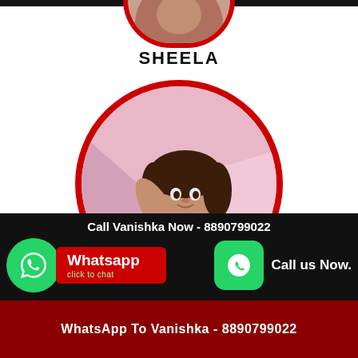[Figure (photo): Circular profile photo of a young woman with red border, pink background, wearing dark top]
SHEELA
[Figure (infographic): WhatsApp button with green phone icon and red label saying Whatsapp click to chat]
[Figure (infographic): Call us Now button with green rounded square phone icon]
Call Vanishka Now - 8890799022
WhatsApp To Vanishka - 8890799022